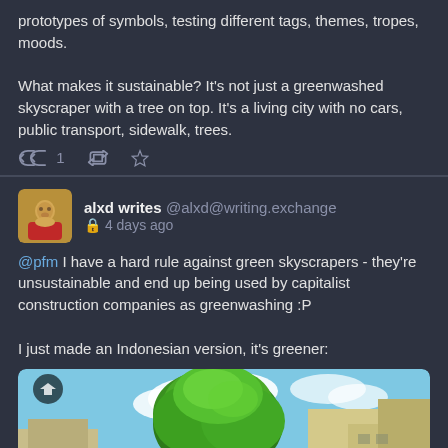prototypes of symbols, testing different tags, themes, tropes, moods.

What makes it sustainable? It's not just a greenwashed skyscraper with a tree on top. It's a living city with no cars, public transport, sidewalk, trees.
alxd writes @alxd@writing.exchange · 4 days ago
@pfm I have a hard rule against green skyscrapers - they're unsustainable and end up being used by capitalist construction companies as greenwashing :P

I just made an Indonesian version, it's greener:
[Figure (photo): Anime/illustrated style image of a large green tree growing among urban buildings, Indonesian city setting, vibrant green foliage against a blue sky with clouds.]